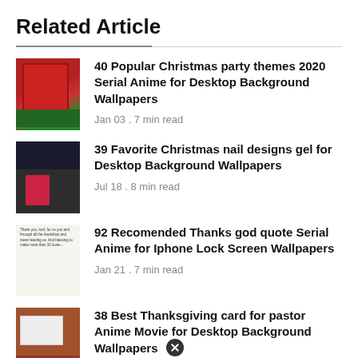Related Article
40 Popular Christmas party themes 2020 Serial Anime for Desktop Background Wallpapers | Jan 03 . 7 min read
39 Favorite Christmas nail designs gel for Desktop Background Wallpapers | Jul 18 . 8 min read
92 Recomended Thanks god quote Serial Anime for Iphone Lock Screen Wallpapers | Jan 21 . 7 min read
38 Best Thanksgiving card for pastor Anime Movie for Desktop Background Wallpapers